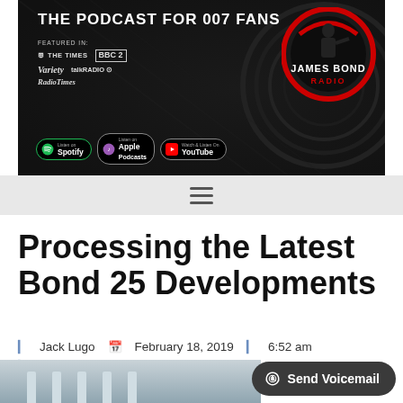[Figure (screenshot): James Bond Radio podcast banner with dark gunbarrel background, 'THE PODCAST FOR 007 FANS' text, featured in logos (The Times, BBC Radio 2, Variety, talkRADIO, RadioTimes), listen on Spotify/Apple Podcasts/YouTube buttons, and James Bond Radio circular logo on the right]
[Figure (screenshot): Navigation bar with hamburger menu icon on light grey background]
Processing the Latest Bond 25 Developments
Jack Lugo   February 18, 2019   6:52 am
No Comments
[Figure (photo): Partial bottom image showing what appears to be a classical building with columns]
Send Voicemail